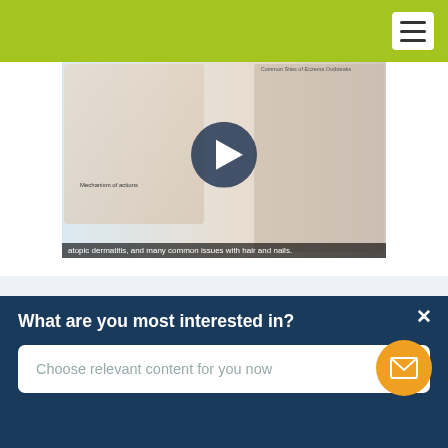[Figure (screenshot): Website header bar with green/yellow-green background and hamburger menu icon (three horizontal lines) in white box at top right]
[Figure (screenshot): Video thumbnail showing medical/dermatology content with play button overlay. Shows child face with skin condition, body diagrams labeled 'Common Sites of Eczema Outbreaks', 'Mechanism of actions' cell diagram, and close-up images of affected skin. Subtitle reads: 'atopic dermatitis, and many common issues with hair and nails.']
ENTRY REQUIREMENTS AND COURSE REQUISITES
What are you most interested in?
Choose relevant content for you now